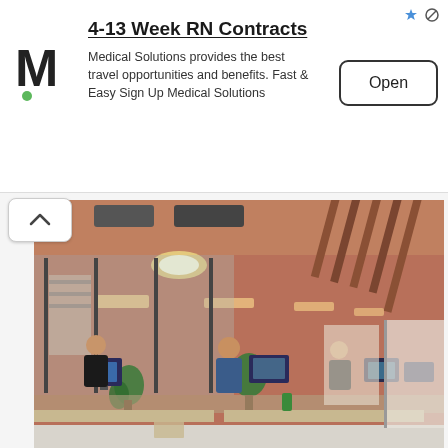[Figure (infographic): Advertisement banner: Medical Solutions logo (M with green dot), headline '4-13 Week RN Contracts', body text 'Medical Solutions provides the best travel opportunities and benefits. Fast & Easy Sign Up Medical Solutions', Open button, with ad icons top right]
[Figure (photo): Office interior photo showing workers at desks with computers, open plan office with reddish-brown ceiling panels with strip lighting, glass partition walls, plants, corridor leading to back wall with pinned items]
[Figure (photo): Partial view of another interior photo at bottom of page, showing ceiling/room]